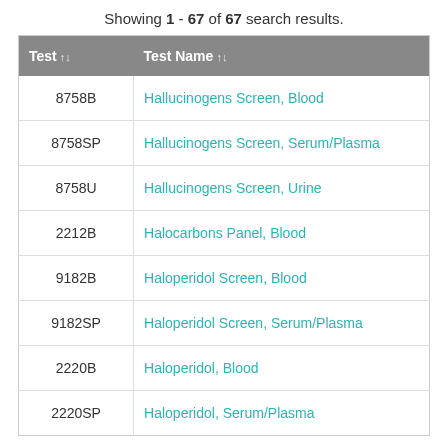Showing 1 - 67 of 67 search results.
| Test | Test Name |
| --- | --- |
| 8758B | Hallucinogens Screen, Blood |
| 8758SP | Hallucinogens Screen, Serum/Plasma |
| 8758U | Hallucinogens Screen, Urine |
| 2212B | Halocarbons Panel, Blood |
| 9182B | Haloperidol Screen, Blood |
| 9182SP | Haloperidol Screen, Serum/Plasma |
| 2220B | Haloperidol, Blood |
| 2220SP | Haloperidol, Serum/Plasma |